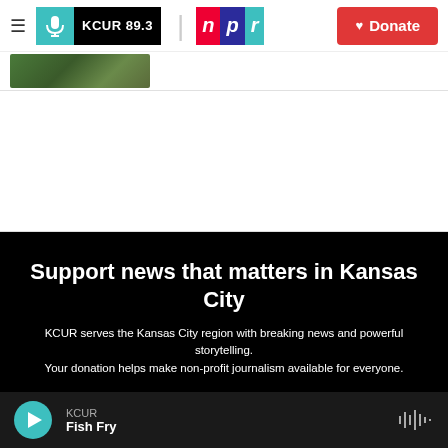KCUR 89.3 | npr | Donate
[Figure (photo): Thumbnail image showing outdoor greenery/nature scene]
[Figure (other): Advertisement/blank space]
Support news that matters in Kansas City
KCUR serves the Kansas City region with breaking news and powerful storytelling.
Your donation helps make non-profit journalism available for everyone.
KCUR — Fish Fry